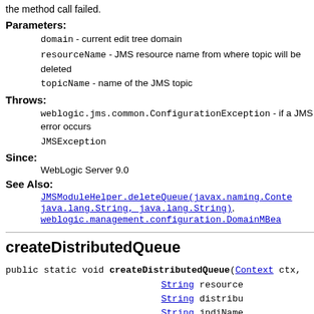the method call failed.
Parameters:
domain - current edit tree domain
resourceName - JMS resource name from where topic will be deleted
topicName - name of the JMS topic
Throws:
weblogic.jms.common.ConfigurationException - if a JMS error occurs
JMSException
Since:
WebLogic Server 9.0
See Also:
JMSModuleHelper.deleteQueue(javax.naming.Context, java.lang.String, java.lang.String), weblogic.management.configuration.DomainMBean...
createDistributedQueue
public static void createDistributedQueue(Context ctx, String resourceName, String distributedQueueName, String jndiName) throws JMSException